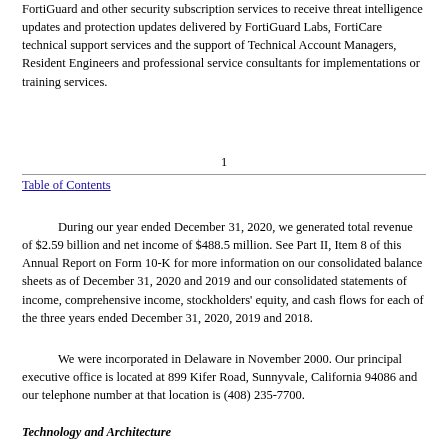FortiGuard and other security subscription services to receive threat intelligence updates and protection updates delivered by FortiGuard Labs, FortiCare technical support services and the support of Technical Account Managers, Resident Engineers and professional service consultants for implementations or training services.
1
Table of Contents
During our year ended December 31, 2020, we generated total revenue of $2.59 billion and net income of $488.5 million. See Part II, Item 8 of this Annual Report on Form 10-K for more information on our consolidated balance sheets as of December 31, 2020 and 2019 and our consolidated statements of income, comprehensive income, stockholders' equity, and cash flows for each of the three years ended December 31, 2020, 2019 and 2018.
We were incorporated in Delaware in November 2000. Our principal executive office is located at 899 Kifer Road, Sunnyvale, California 94086 and our telephone number at that location is (408) 235-7700.
Technology and Architecture